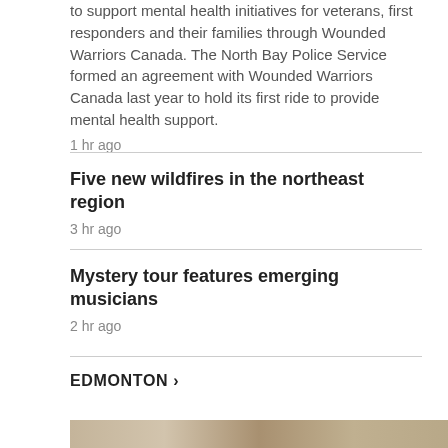to support mental health initiatives for veterans, first responders and their families through Wounded Warriors Canada. The North Bay Police Service formed an agreement with Wounded Warriors Canada last year to hold its first ride to provide mental health support.
1 hr ago
Five new wildfires in the northeast region
3 hr ago
Mystery tour features emerging musicians
2 hr ago
EDMONTON ›
[Figure (photo): Partial photo strip at the bottom of the page]